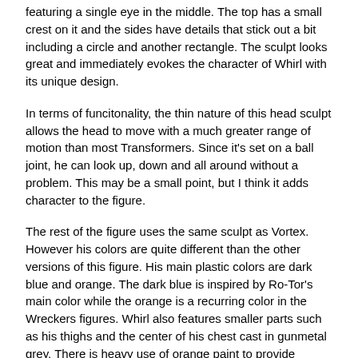featuring a single eye in the middle. The top has a small crest on it and the sides have details that stick out a bit including a circle and another rectangle. The sculpt looks great and immediately evokes the character of Whirl with its unique design.
In terms of funcitonality, the thin nature of this head sculpt allows the head to move with a much greater range of motion than most Transformers. Since it's set on a ball joint, he can look up, down and all around without a problem. This may be a small point, but I think it adds character to the figure.
The rest of the figure uses the same sculpt as Vortex. However his colors are quite different than the other versions of this figure. His main plastic colors are dark blue and orange. The dark blue is inspired by Ro-Tor's main color while the orange is a recurring color in the Wreckers figures. Whirl also features smaller parts such as his thighs and the center of his chest cast in gunmetal grey. There is heavy use of orange paint to provide additional deailing. You'll find this on the torso, shoulders and waist cover. Another heavily featured color is light blue, which paints a lot of his more angular details such as the triangles on his legs (the helicopter windows) and his robot eye. The colors work nicely together, and more importantly they are shades of colors used on several of the Wrockers, helping to give the team a united look.